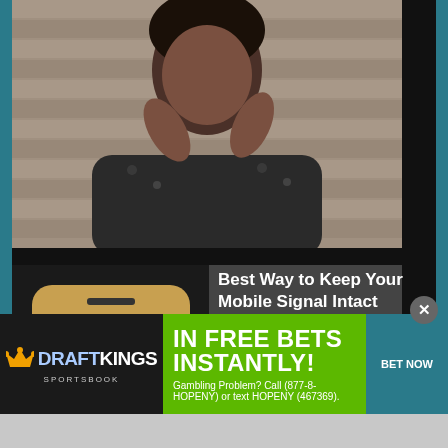[Figure (photo): Photo of a young woman looking upward with hands on head, wearing leopard print top, against wooden wall background]
[Figure (photo): Close-up photo of a smartphone screen showing No Service status, Messages app, Calendar showing 30, and partial Photo app icon]
Best Way to Keep Your Mobile Signal Intact
Whether you talk about the rapid distribution of information or ...
[Figure (photo): Partial image of an access control system device, light gray/white background]
Investing in an Access Control System: Pros and Cons
[Figure (other): DraftKings Sportsbook advertisement banner. Text: IN FREE BETS INSTANTLY! BET NOW. Gambling Problem? Call (877-8-HOPENY) or text HOPENY (467369).]